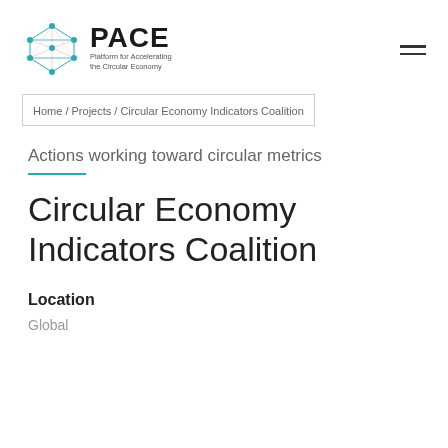[Figure (logo): PACE logo — circular network graphic with teal nodes and edges, beside bold text 'PACE' and subtitle 'Platform for Accelerating the Circular Economy']
Home / Projects / Circular Economy Indicators Coalition
Actions working toward circular metrics
Circular Economy Indicators Coalition
Location
Global